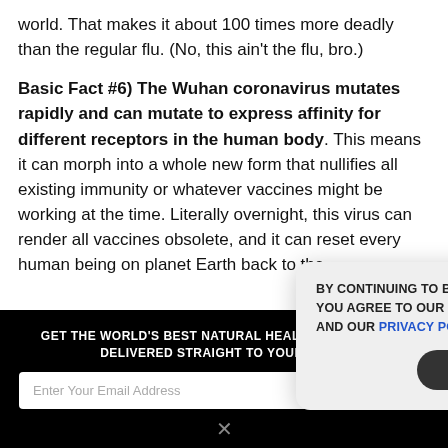world. That makes it about 100 times more deadly than the regular flu. (No, this ain't the flu, bro.)
Basic Fact #6) The Wuhan coronavirus mutates rapidly and can mutate to express affinity for different receptors in the human body
. This means it can morph into a whole new form that nullifies all existing immunity or whatever vaccines might be working at the time. Literally overnight, this virus can render all vaccines obsolete, and it can reset every human being on planet Earth back to the
[Figure (screenshot): Dark newsletter signup banner with 'GET THE WORLD'S BEST NATURAL HEALTH NEWSLETTER DELIVERED STRAIGHT TO YOUR INBOX' heading, email input field, and SUBSCRIBE button]
[Figure (screenshot): Cookie consent popup overlay on dark background with text 'BY CONTINUING TO BROWSE OUR SITE YOU AGREE TO OUR USE OF COOKIES AND OUR PRIVACY POLICY.' and 'Agree and close' button, X close button in corner]